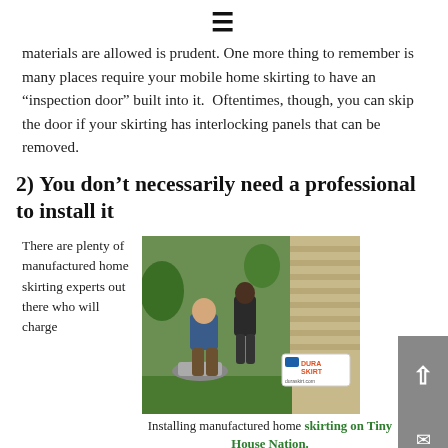≡
materials are allowed is prudent. One more thing to remember is many places require your mobile home skirting to have an “inspection door” built into it.  Oftentimes, though, you can skip the door if your skirting has interlocking panels that can be removed.
2) You don’t necessarily need a professional to install it
There are plenty of manufactured home skirting experts out there who will charge
[Figure (photo): Two workers installing manufactured home skirting next to a tan/beige house. A DuraSkirt branded panel is visible. Green trees in background. A car is visible in the driveway.]
Installing manufactured home skirting on Tiny House Nation.